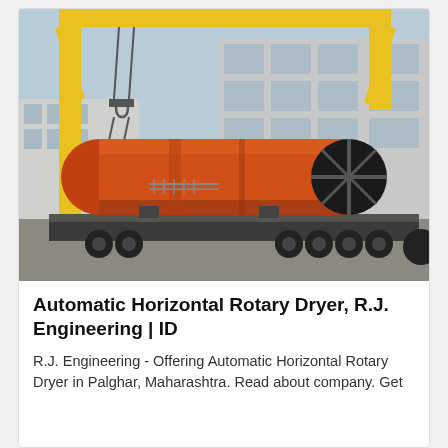[Figure (photo): A large orange horizontal rotary dryer cylinder loaded on a heavy-duty flatbed truck/trailer, being lifted or positioned by a yellow overhead gantry crane in an industrial yard next to a large building.]
Automatic Horizontal Rotary Dryer, R.J. Engineering | ID
R.J. Engineering - Offering Automatic Horizontal Rotary Dryer in Palghar, Maharashtra. Read about company. Get